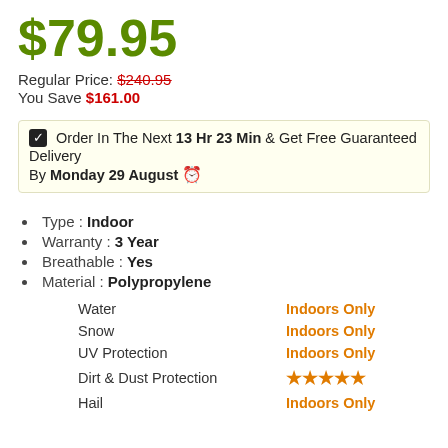$79.95
Regular Price: $240.95
You Save $161.00
✔ Order In The Next 13 Hr 23 Min & Get Free Guaranteed Delivery By Monday 29 August 🕐
Type : Indoor
Warranty : 3 Year
Breathable : Yes
Material : Polypropylene
| Feature | Rating |
| --- | --- |
| Water | Indoors Only |
| Snow | Indoors Only |
| UV Protection | Indoors Only |
| Dirt & Dust Protection | ★★★★★ |
| Hail | Indoors Only |